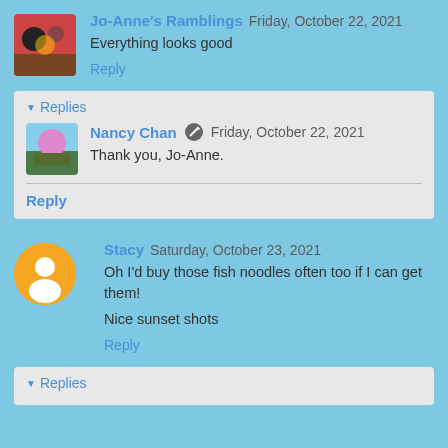Jo-Anne's Ramblings  Friday, October 22, 2021
Everything looks good
Reply
Replies
Nancy Chan  Friday, October 22, 2021
Thank you, Jo-Anne.
Reply
Stacy  Saturday, October 23, 2021
Oh I'd buy those fish noodles often too if I can get them!
Nice sunset shots
Reply
Replies